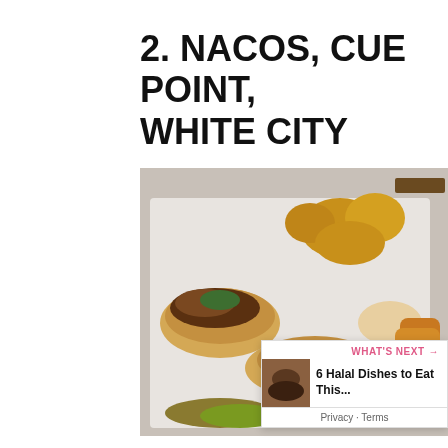2. NACOS, CUE POINT, WHITE CITY
[Figure (photo): A platter of food including tacos/flatbreads with meat and sauce toppings, fried chicken pieces, dipping sauce, and fried potato wedges on a white tray]